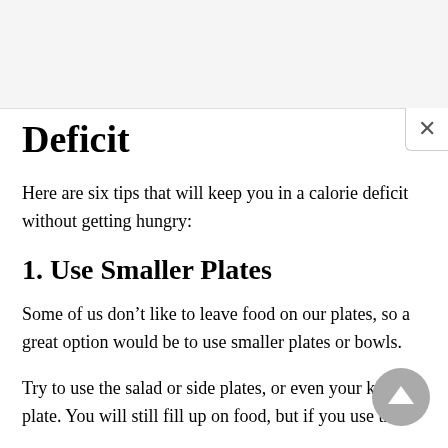Deficit
Here are six tips that will keep you in a calorie deficit without getting hungry:
1. Use Smaller Plates
Some of us don’t like to leave food on our plates, so a great option would be to use smaller plates or bowls.
Try to use the salad or side plates, or even your kid’s plate. You will still fill up on food, but if you use the